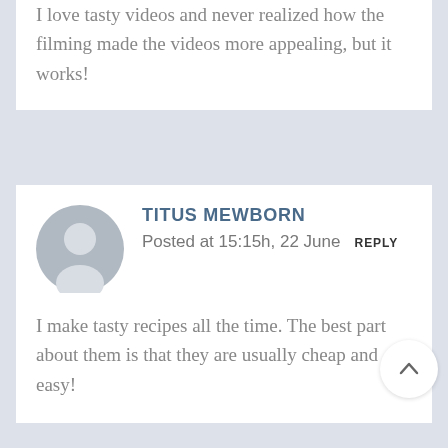I love tasty videos and never realized how the filming made the videos more appealing, but it works!
TITUS MEWBORN
Posted at 15:15h, 22 June  REPLY
I make tasty recipes all the time. The best part about them is that they are usually cheap and easy!